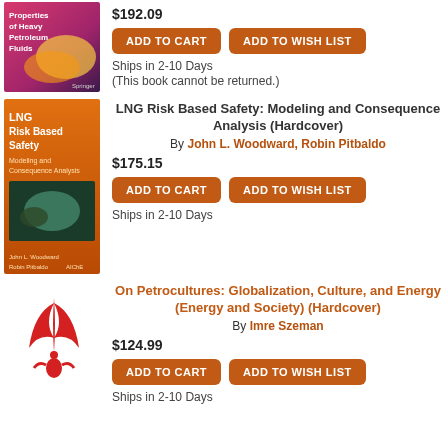[Figure (photo): Book cover for Properties of Heavy Petroleum Fluids (partial, top of page)]
$192.09
ADD TO CART
ADD TO WISH LIST
Ships in 2-10 Days
(This book cannot be returned.)
[Figure (photo): Book cover for LNG Risk Based Safety: Modeling and Consequence Analysis, orange cover]
LNG Risk Based Safety: Modeling and Consequence Analysis (Hardcover)
By John L. Woodward, Robin Pitbaldo
$175.15
ADD TO CART
ADD TO WISH LIST
Ships in 2-10 Days
[Figure (logo): Red stylized flame/leaf logo for On Petrocultures book publisher]
On Petrocultures: Globalization, Culture, and Energy (Energy and Society) (Hardcover)
By Imre Szeman
$124.99
ADD TO CART
ADD TO WISH LIST
Ships in 2-10 Days